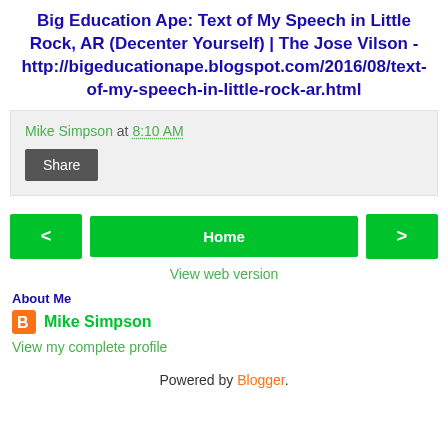Big Education Ape: Text of My Speech in Little Rock, AR (Decenter Yourself) | The Jose Vilson - http://bigeducationape.blogspot.com/2016/08/text-of-my-speech-in-little-rock-ar.html
Mike Simpson at 8:10 AM
Share
< Home >
View web version
About Me
Mike Simpson
View my complete profile
Powered by Blogger.